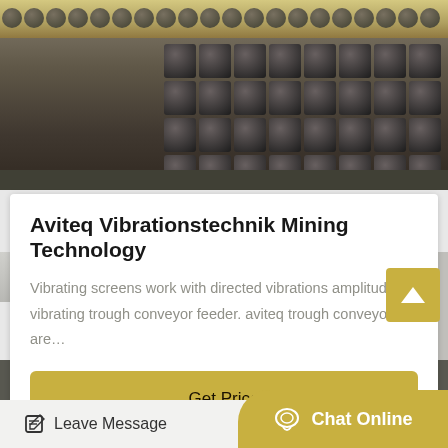[Figure (photo): Industrial mining machinery with conveyor bolts and parts on a factory floor]
Aviteq Vibrationstechnik Mining Technology
Vibrating screens work with directed vibrations amplitudes. vibrating trough conveyor feeder. aviteq trough conveyors are…
Get Price
[Figure (photo): Industrial building exterior with pipes on ceiling, windows, and red machinery visible]
Leave Message
Chat Online